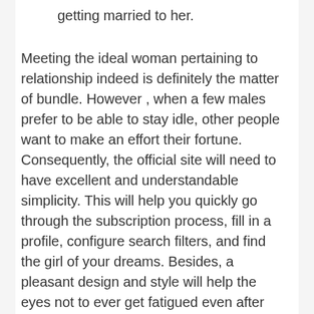getting married to her.
Meeting the ideal woman pertaining to relationship indeed is definitely the matter of bundle. However , when a few males prefer to be able to stay idle, other people want to make an effort their fortune. Consequently, the official site will need to have excellent and understandable simplicity. This will help you quickly go through the subscription process, fill in a profile, configure search filters, and find the girl of your dreams. Besides, a pleasant design and style will help the eyes not to ever get fatigued even after various hours used on the site. Our team will always strive to provide you with the best details about mail purchase websites – the best we are able to find, by least.